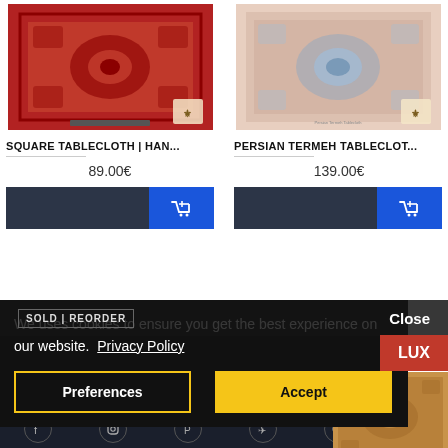[Figure (photo): Red oriental rug tablecloth with medallion pattern, shown with a logo badge]
[Figure (photo): Light pink/beige Persian termeh tablecloth with blue medallion pattern, shown with a logo badge]
SQUARE TABLECLOTH | HAN...
89.00€
PERSIAN TERMEH TABLECLOT...
139.00€
SOLD | REORDER
Close
We uses cookies to ensure you get the best experience on our website.  Privacy Policy
Preferences
Accept
LUX
[Figure (photo): Partial view of a third product - orange/brown patterned textile]
[Figure (screenshot): Footer social media icons bar]